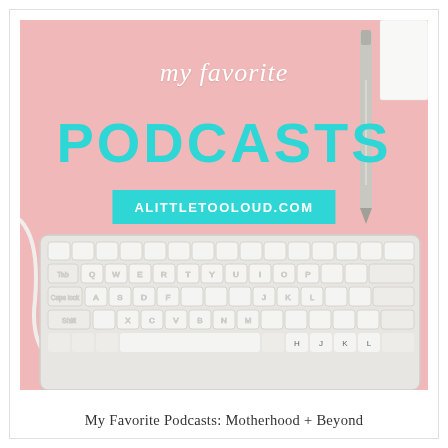[Figure (photo): A pink-background flat lay photo with a white keyboard, gray pen, and white earphones. Text overlay reads 'my favorite PODCASTS' in white script and teal bold fonts, with a teal URL badge reading 'alittletooloud.com'.]
My Favorite Podcasts: Motherhood + Beyond